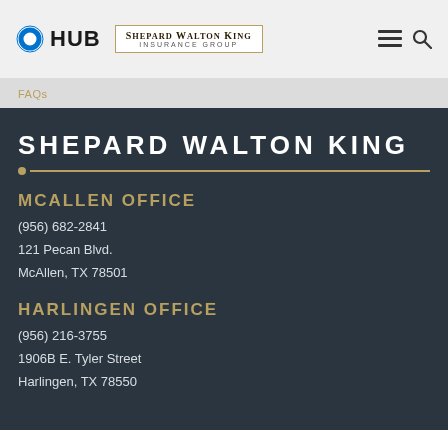HUB | SHEPARD WALTON KING INSURANCE GROUP
FAQs
SHEPARD WALTON KING
MCALLEN OFFICE
(956) 682-2841
121 Pecan Blvd.
McAllen, TX 78501
HARLINGEN OFFICE
(956) 216-3755
1906B E. Tyler Street
Harlingen, TX 78550